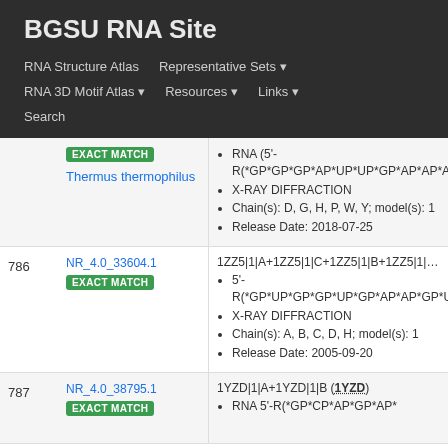BGSU RNA Site
RNA Structure Atlas | Representative Sets ▾ | RNA 3D Motif Atlas ▾ | Resources ▾ | Links ▾ | Search
| # | ID / Match | Description |
| --- | --- | --- |
|  | EXACT MATCH / Thermus thermophilus | RNA (5'-R(*GP*GP*GP*AP*UP*UP*GP*AP*AP*A... • X-RAY DIFFRACTION • Chain(s): D, G, H, P, W, Y; model(s): 1 • Release Date: 2018-07-25 |
| 786 | NR_4.0_33604.1 / EXACT MATCH | 1ZZ5|1|A+1ZZ5|1|C+1ZZ5|1|B+1ZZ5|1|D (1Z... • 5'-R(*GP*UP*GP*GP*UP*GP*AP*AP*GP*U... • X-RAY DIFFRACTION • Chain(s): A, B, C, D, H; model(s): 1 • Release Date: 2005-09-20 |
| 787 | NR_4.0_38795.1 / EXACT MATCH | 1YZD|1|A+1YZD|1|B (1YZD) • RNA 5'-R(*GP*CP*AP*GP*AP*... |